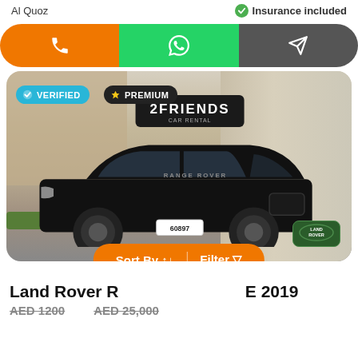Al Quoz
Insurance included
[Figure (screenshot): Three action buttons: orange phone/call button, green WhatsApp button, dark grey share/send button]
[Figure (photo): Black Land Rover Range Rover 2019 parked in front of 2Friends Car Rental shop. Badges: VERIFIED (blue), PREMIUM (black). Sort By / Filter orange pill overlay at bottom.]
Land Rover R... E 2019
AED 1200
AED 25,000